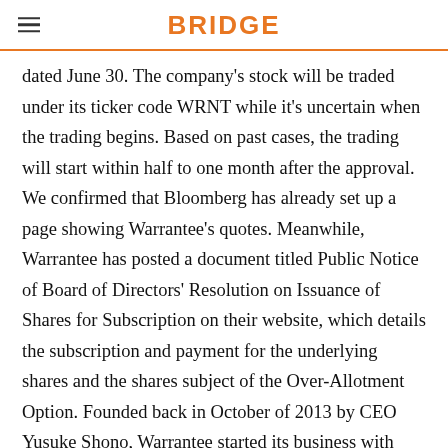BRIDGE
dated June 30. The company's stock will be traded under its ticker code WRNT while it's uncertain when the trading begins. Based on past cases, the trading will start within half to one month after the approval. We confirmed that Bloomberg has already set up a page showing Warrantee's quotes. Meanwhile, Warrantee has posted a document titled Public Notice of Board of Directors' Resolution on Issuance of Shares for Subscription on their website, which details the subscription and payment for the underlying shares and the shares subject of the Over-Allotment Option. Founded back in October of 2013 by CEO Yusuke Shono, Warrantee started its business with helping consumers turn product warranties into digital followed by foraying into the on-demand insurance